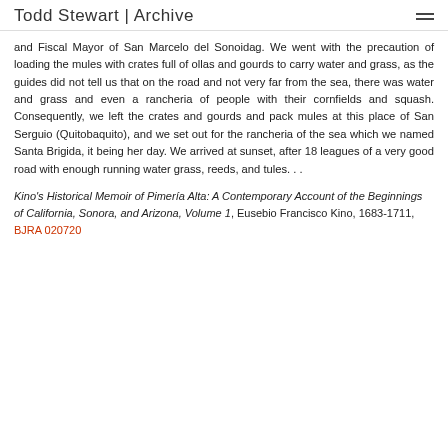Todd Stewart | Archive
and Fiscal Mayor of San Marcelo del Sonoidag. We went with the precaution of loading the mules with crates full of ollas and gourds to carry water and grass, as the guides did not tell us that on the road and not very far from the sea, there was water and grass and even a rancheria of people with their cornfields and squash. Consequently, we left the crates and gourds and pack mules at this place of San Serguio (Quitobaquito), and we set out for the rancheria of the sea which we named Santa Brigida, it being her day. We arrived at sunset, after 18 leagues of a very good road with enough running water grass, reeds, and tules...
Kino's Historical Memoir of Pimería Alta: A Contemporary Account of the Beginnings of California, Sonora, and Arizona, Volume 1, Eusebio Francisco Kino, 1683-1711, BJRA 020720